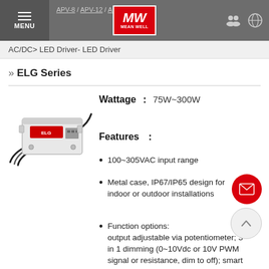APV-8 / APV-12 / APV-... / APV-35
AC/DC> LED Driver- LED Driver
» ELG Series
[Figure (photo): Mean Well ELG Series LED Driver product photo — rectangular metal case with cable wires]
Wattage : 75W~300W
Features :
100~305VAC input range
Metal case, IP67/IP65 design for indoor or outdoor installations
Function options: output adjustable via potentiometer; 3 in 1 dimming (0~10Vdc or 10V PWM signal or resistance, dim to off); smart timer